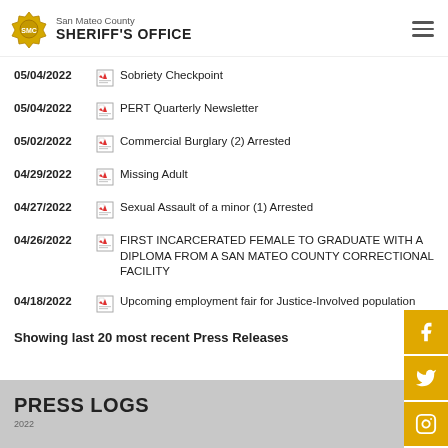San Mateo County SHERIFF'S OFFICE
05/04/2022 — Sobriety Checkpoint
05/04/2022 — PERT Quarterly Newsletter
05/02/2022 — Commercial Burglary (2) Arrested
04/29/2022 — Missing Adult
04/27/2022 — Sexual Assault of a minor (1) Arrested
04/26/2022 — FIRST INCARCERATED FEMALE TO GRADUATE WITH A DIPLOMA FROM A SAN MATEO COUNTY CORRECTIONAL FACILITY
04/18/2022 — Upcoming employment fair for Justice-Involved population
Showing last 20 most recent Press Releases
PRESS LOGS